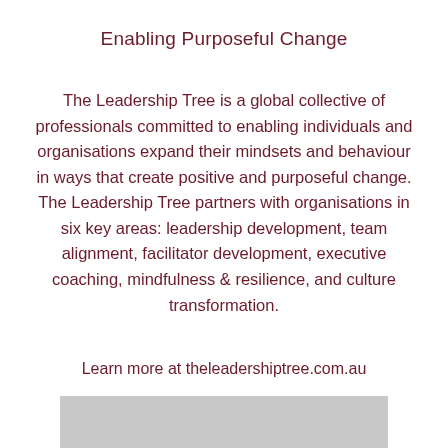Enabling Purposeful Change
The Leadership Tree is a global collective of professionals committed to enabling individuals and organisations expand their mindsets and behaviour in ways that create positive and purposeful change. The Leadership Tree partners with organisations in six key areas: leadership development, team alignment, facilitator development, executive coaching, mindfulness & resilience, and culture transformation.
Learn more at theleadershiptree.com.au
[Figure (other): Grey rectangular box at bottom of page]